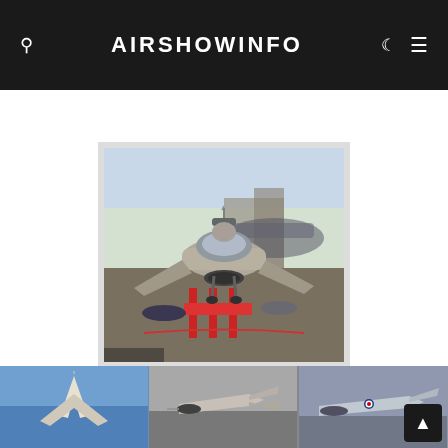AIRSHOWINFO
[Figure (photo): Fighter jet (F-16 style) parked on tarmac at an airshow, viewed from front-left angle, with red ground equipment beneath, other aircraft visible in background]
[Figure (photo): Aircraft silhouette against blue sky (left panel)]
[Figure (photo): Fighter jet in flight, grey sky background (center panel)]
[Figure (photo): Fighter jet in flight with national insignia (right panel)]